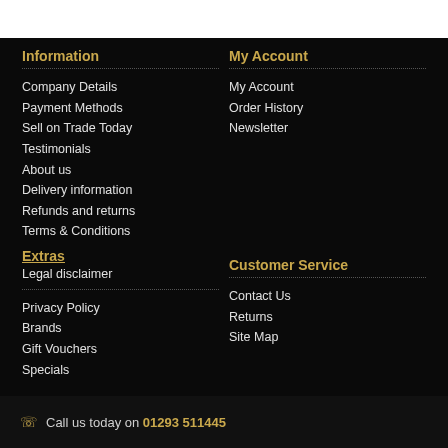Information
Company Details
Payment Methods
Sell on Trade Today
Testimonials
About us
Delivery information
Refunds and returns
Terms & Conditions
Extras
Legal disclaimer
Privacy Policy
Brands
Gift Vouchers
Specials
My Account
My Account
Order History
Newsletter
Customer Service
Contact Us
Returns
Site Map
Call us today on 01293 511445